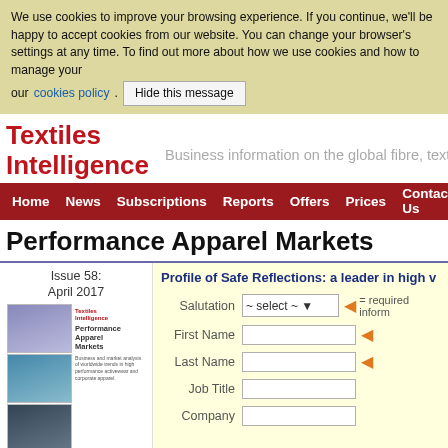We use cookies to improve your browsing experience. If you continue, we'll be happy to accept cookies from our website. You can change your browser's settings at any time. To find out more about how we use cookies and how to manage your cookies, visit our cookies policy. Hide this message
Textiles Intelligence
Business information on the global fibre, texti...
Home  News  Subscriptions  Reports  Offers  Prices  Contact Us
Performance Apparel Markets
Issue 58: April 2017
[Figure (illustration): Cover of Performance Apparel Markets magazine, April 2017 issue, showing sports/performance apparel imagery]
Profile of Safe Reflections: a leader in high v...
Salutation ~ select ~ = required inform...
First Name
Last Name
Job Title
Company